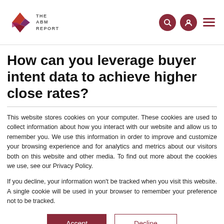THE ABM REPORT
How can you leverage buyer intent data to achieve higher close rates?
This website stores cookies on your computer. These cookies are used to collect information about how you interact with our website and allow us to remember you. We use this information in order to improve and customize your browsing experience and for analytics and metrics about our visitors both on this website and other media. To find out more about the cookies we use, see our Privacy Policy.
If you decline, your information won't be tracked when you visit this website. A single cookie will be used in your browser to remember your preference not to be tracked.